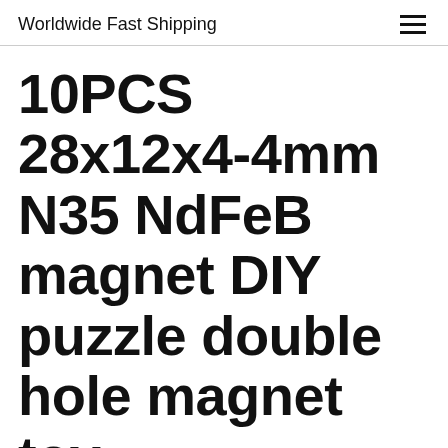Worldwide Fast Shipping
10PCS 28x12x4-4mm N35 NdFeB magnet DIY puzzle double hole magnet toy multifunctional refrigerator magnet